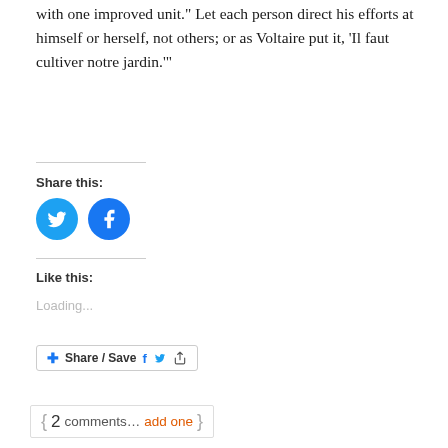with one improved unit.” Let each person direct his efforts at himself or herself, not others; or as Voltaire put it, ‘Il faut cultiver notre jardin.’”
Share this:
[Figure (illustration): Two circular social media share buttons: Twitter (bird icon, blue) and Facebook (f icon, blue)]
Like this:
Loading...
[Figure (illustration): Share / Save button with Facebook, Twitter, and share icons]
{ 2 comments… add one }